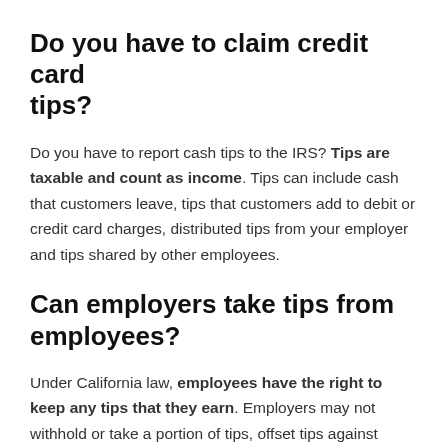Do you have to claim credit card tips?
Do you have to report cash tips to the IRS? Tips are taxable and count as income. Tips can include cash that customers leave, tips that customers add to debit or credit card charges, distributed tips from your employer and tips shared by other employees.
Can employers take tips from employees?
Under California law, employees have the right to keep any tips that they earn. Employers may not withhold or take a portion of tips, offset tips against regular wages, or force